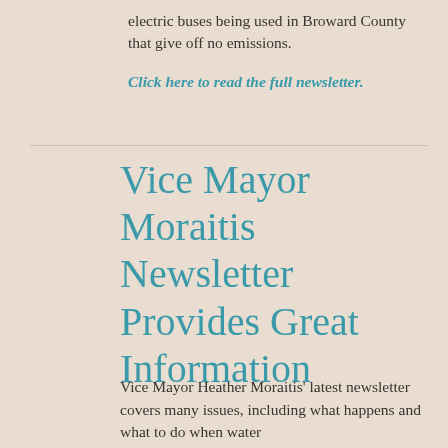electric buses being used in Broward County that give off no emissions.
Click here to read the full newsletter.
Vice Mayor Moraitis Newsletter Provides Great Information
Vice Mayor Heather Moraitis' latest newsletter covers many issues, including what happens and what to do when water